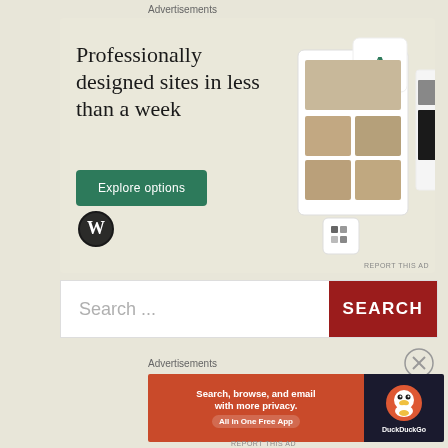Advertisements
[Figure (screenshot): WordPress advertisement banner with text 'Professionally designed sites in less than a week', an 'Explore options' green button, WordPress logo, and mockup screenshots of websites]
REPORT THIS AD
Search ...
SEARCH
Advertisements
[Figure (screenshot): DuckDuckGo advertisement: 'Search, browse, and email with more privacy. All in One Free App' on orange/red background with DuckDuckGo duck logo on dark background]
REPORT THIS AD